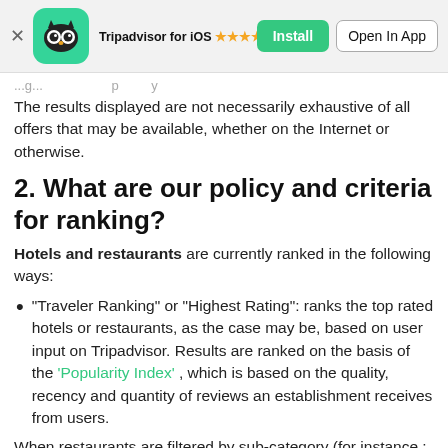[Figure (screenshot): Tripadvisor app install banner with owl logo icon, star rating 4.5 stars (110,043), Install button, and Open In App button]
The results displayed are not necessarily exhaustive of all offers that may be available, whether on the Internet or otherwise.
2. What are our policy and criteria for ranking?
Hotels and restaurants are currently ranked in the following ways:
“Traveler Ranking” or “Highest Rating”: ranks the top rated hotels or restaurants, as the case may be, based on user input on Tripadvisor. Results are ranked on the basis of the ‘Popularity Index’ , which is based on the quality, recency and quantity of reviews an establishment receives from users.
When restaurants are filtered by sub-category (for instance : type of cuisine, dinner, local cuisine, etc), then within this sub-category they are ranked according to the